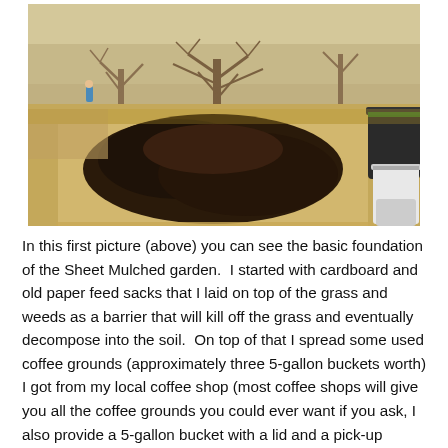[Figure (photo): Outdoor photo showing a sheet mulched garden bed with dark compost/soil on top of cardboard/paper laid on dry grass, surrounded by bare trees and dry landscape. Buckets with material visible on the right side. A person visible in the distant background.]
In this first picture (above) you can see the basic foundation of the Sheet Mulched garden.  I started with cardboard and old paper feed sacks that I laid on top of the grass and weeds as a barrier that will kill off the grass and eventually decompose into the soil.  On top of that I spread some used coffee grounds (approximately three 5-gallon buckets worth) I got from my local coffee shop (most coffee shops will give you all the coffee grounds you could ever want if you ask, I also provide a 5-gallon bucket with a lid and a pick-up service